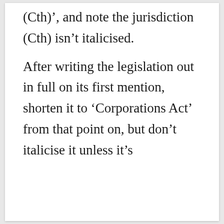(Cth)', and note the jurisdiction (Cth) isn't italicised. After writing the legislation out in full on its first mention, shorten it to 'Corporations Act' from that point on, but don't italicise it unless it's